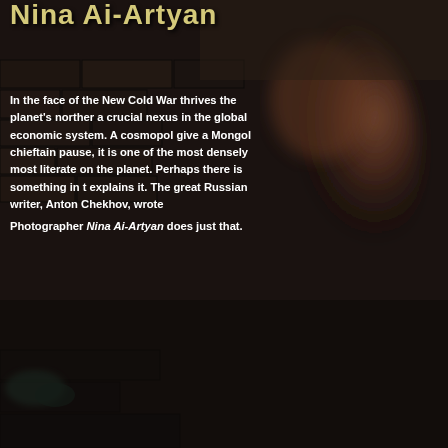[Figure (photo): Dark background with textured brick/stone wall and blurred brown figure on the right side]
Nina Ai-Artyan
In the face of the New Cold War thrives the planet's northern a crucial nexus in the global economic system. A cosmopol give a Mongol chieftain pause, it is one of the most densely most literate on the planet. Perhaps there is something in t explains it. The great Russian writer, Anton Chekhov, wrote
Photographer Nina Ai-Artyan does just that.